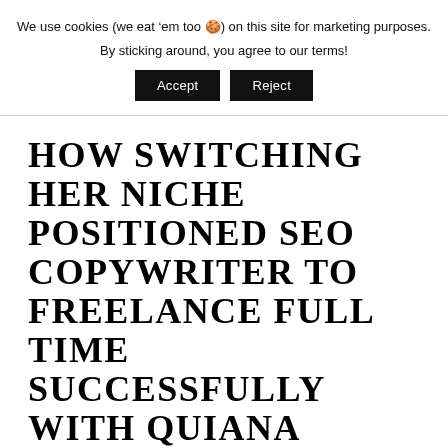We use cookies (we eat ‘em too 🍪) on this site for marketing purposes. By sticking around, you agree to our terms!
Accept | Reject
HOW SWITCHING HER NICHE POSITIONED SEO COPYWRITER TO FREELANCE FULL TIME SUCCESSFULLY WITH QUIANA DARDEN
0 comments